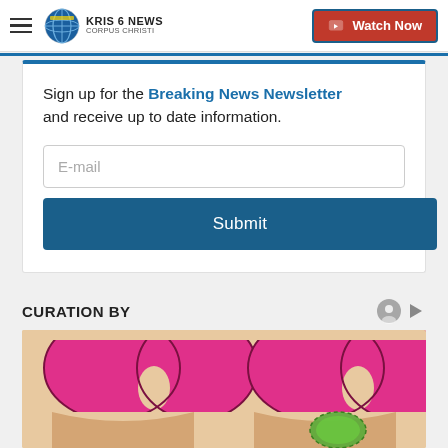KRIS 6 NEWS CORPUS CHRISTI | Watch Now
Sign up for the Breaking News Newsletter and receive up to date information.
[Figure (screenshot): Email input field with placeholder text 'E-mail' and a navy blue Submit button below]
CURATION BY
[Figure (illustration): Illustration showing two female torsos side by side wearing pink/magenta bras, one showing a decorative green patch on the abdomen area]